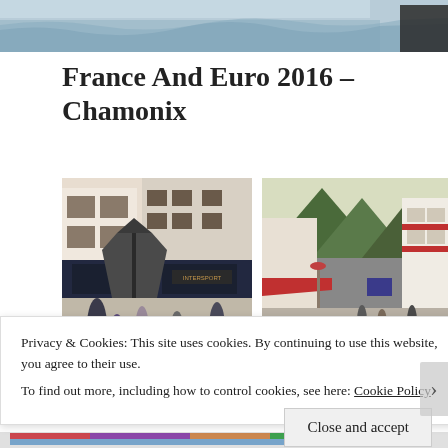[Figure (photo): Top strip showing a partial photo of what appears to be a mountain or water scene]
France And Euro 2016 – Chamonix
[Figure (photo): Street scene in Chamonix showing shops, a gazebo, and pedestrians]
[Figure (photo): Street scene in Chamonix with mountain backdrop and red awnings]
Privacy & Cookies: This site uses cookies. By continuing to use this website, you agree to their use.
To find out more, including how to control cookies, see here: Cookie Policy
Close and accept